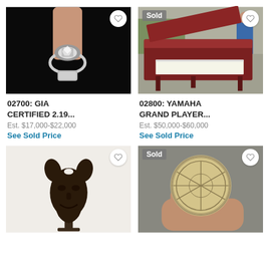[Figure (photo): Close-up of a hand holding a diamond ring against a dark background]
02700: GIA CERTIFIED 2.19...
Est. $17,000-$22,000
See Sold Price
[Figure (photo): Yamaha grand piano outdoors with a person in a blue shirt in background, marked Sold]
02800: YAMAHA GRAND PLAYER...
Est. $50,000-$60,000
See Sold Price
[Figure (photo): African wooden mask sculpture with horns on white background]
[Figure (photo): Hand holding a round silver coin or medallion with geometric design, marked Sold]